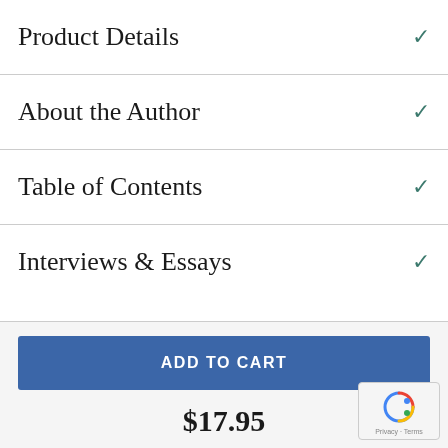Product Details
About the Author
Table of Contents
Interviews & Essays
ADD TO CART
$17.95